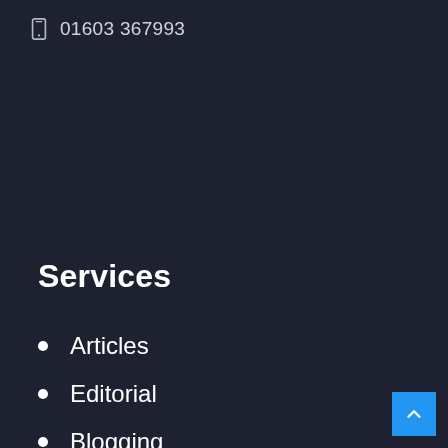01603 367993
Services
Articles
Editorial
Blogging
Ecom
News
Transcreation